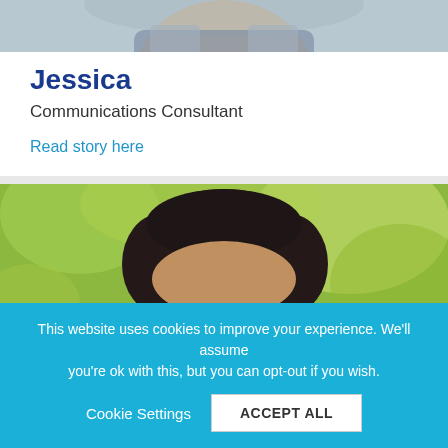[Figure (photo): Partial photo of Jessica at top of first card]
Jessica
Communications Consultant
Read story here
[Figure (photo): Photo of a dark-haired man outdoors with green/yellow bokeh background]
This website uses cookies to improve your experience. We'll assume you're ok with this, but you can opt-out if you wish.
Cookie Settings
ACCEPT ALL